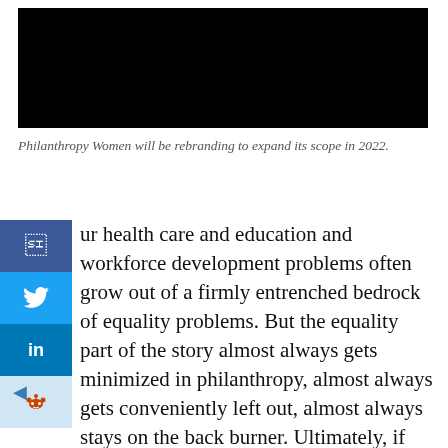[Figure (photo): Black banner image at the top of the page]
Philanthropy Women will be rebranding to expand its scope in 2022.
ur health care and education and workforce development problems often grow out of a firmly entrenched bedrock of equality problems. But the equality part of the story almost always gets minimized in philanthropy, almost always gets conveniently left out, almost always stays on the back burner. Ultimately, if you really look closely at what's going on in philanthropy, you realize that philanthropy as a whole funds equality in